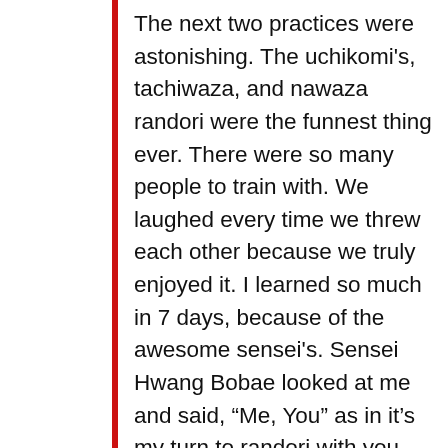The next two practices were astonishing. The uchikomi's, tachiwaza, and nawaza randori were the funnest thing ever. There were so many people to train with. We laughed every time we threw each other because we truly enjoyed it. I learned so much in 7 days, because of the awesome sensei's. Sensei Hwang Bobae looked at me and said, “Me, You” as in it’s my turn to randori with you. Sensei Hwang is very strong and so knowledgeable. He taught me so much in that 15 minutes of randori. I also learned about the Korean culture which is such a beautiful thing. One night, some of the kids who stayed there knocked all the sheets and blankets off the shelf into the floor and plopped down to converse with us. We talked for hours